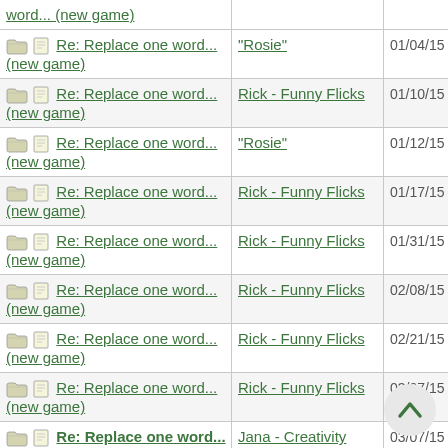| Topic | Author | Date |
| --- | --- | --- |
| word... (new game) |  |  |
| Re: Replace one word... (new game) | "Rosie" | 01/04/15 08:05 AM |
| Re: Replace one word... (new game) | Rick - Funny Flicks | 01/10/15 11:52 PM |
| Re: Replace one word... (new game) | "Rosie" | 01/12/15 06:03 PM |
| Re: Replace one word... (new game) | Rick - Funny Flicks | 01/17/15 03:11 PM |
| Re: Replace one word... (new game) | Rick - Funny Flicks | 01/31/15 01:55 AM |
| Re: Replace one word... (new game) | Rick - Funny Flicks | 02/08/15 04:14 PM |
| Re: Replace one word... (new game) | Rick - Funny Flicks | 02/21/15 04:55 AM |
| Re: Replace one word... (new game) | Rick - Funny Flicks | 03/07/15 03:13 PM |
| Re: Replace one word... (new game) | Jana - Creativity Editor | 03/07/15 04:57 PM |
| Re: Replace one word... | Rick - Funny Flicks | 03/14/15 02:56 PM |